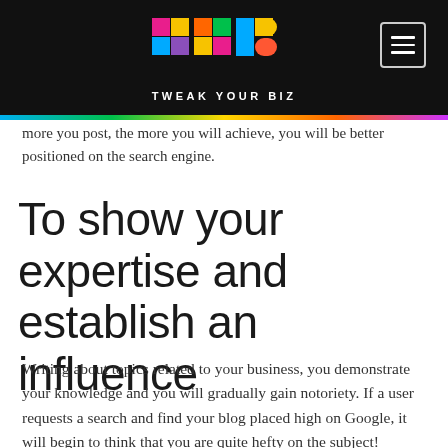[Figure (logo): TYB (Tweak Your Biz) colorful logo on black header bar with hamburger menu icon]
more you post, the more you will achieve, you will be better positioned on the search engine.
To show your expertise and establish an influence
Writing about topics related to your business, you demonstrate your knowledge and you will gradually gain notoriety. If a user requests a search and find your blog placed high on Google, it will begin to think that you are quite hefty on the subject!